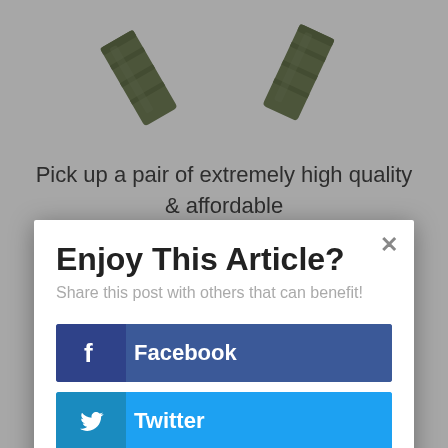[Figure (photo): Two olive/green tactical straps photographed on white background, partially visible at top of page]
Pick up a pair of extremely high quality & affordable straps here
Enjoy This Article?
Share this post with others that can benefit!
Facebook
Twitter
Google+
Pinterest